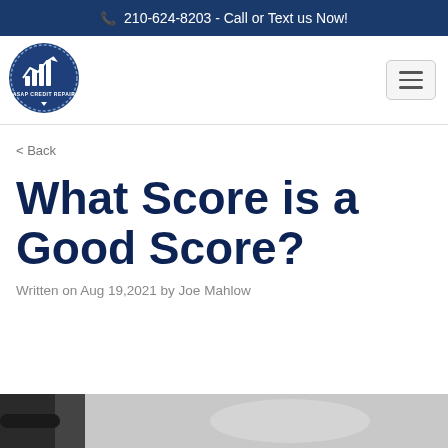210-624-8203 - Call or Text us Now!
[Figure (logo): ASAP Credit Repair circular logo with blue background and bar chart with upward arrow]
< Back
What Score is a Good Score?
Written on Aug 19,2021 by Joe Mahlow
[Figure (photo): Partial view of a dark object and glasses on a light surface]